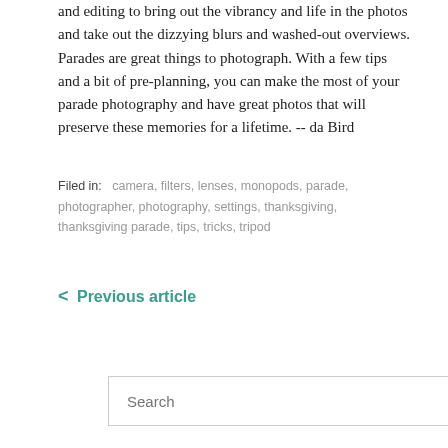and editing to bring out the vibrancy and life in the photos and take out the dizzying blurs and washed-out overviews. Parades are great things to photograph. With a few tips and a bit of pre-planning, you can make the most of your parade photography and have great photos that will preserve these memories for a lifetime. -- da Bird
Filed in: camera, filters, lenses, monopods, parade, photographer, photography, settings, thanksgiving, thanksgiving parade, tips, tricks, tripod
< Previous article